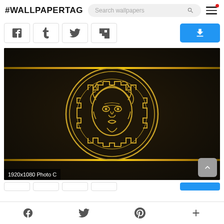#WALLPAPERTAG | Search wallpapers
[Figure (screenshot): Social sharing buttons row: Facebook, Tumblr, Twitter, Flipboard icons, and a blue download button on the right]
[Figure (photo): Versace Medusa head logo in gold on dark/black background with gold horizontal stripes. Label reads: 1920x1080 Photo C]
f  (Twitter bird)  P  +